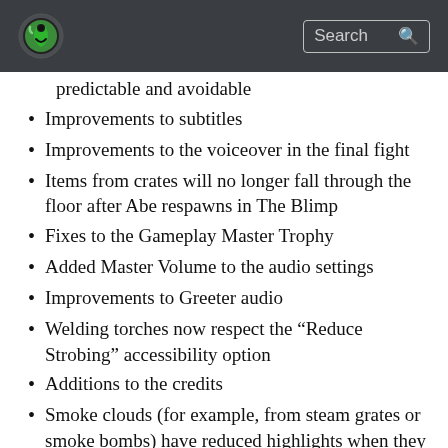Search
predictable and avoidable
Improvements to subtitles
Improvements to the voiceover in the final fight
Items from crates will no longer fall through the floor after Abe respawns in The Blimp
Fixes to the Gameplay Master Trophy
Added Master Volume to the audio settings
Improvements to Greeter audio
Welding torches now respect the “Reduce Strobing” accessibility option
Additions to the credits
Smoke clouds (for example, from steam grates or smoke bombs) have reduced highlights when they pickup light from Slig gunfire
Fixes to certain pickups not being present